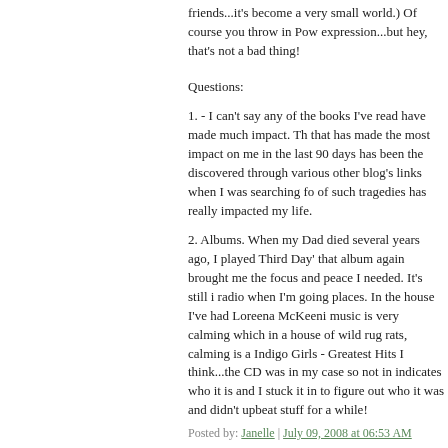friends...it's become a very small world.) Of course you throw in Pow expression...but hey, that's not a bad thing!
Questions:
1. - I can't say any of the books I've read have made much impact. Th that has made the most impact on me in the last 90 days has been the discovered through various other blog's links when I was searching fo of such tragedies has really impacted my life.
2. Albums. When my Dad died several years ago, I played Third Day' that album again brought me the focus and peace I needed. It's still i radio when I'm going places. In the house I've had Loreena McKeeni music is very calming which in a house of wild rug rats, calming is a Indigo Girls - Greatest Hits I think...the CD was in my case so not in indicates who it is and I stuck it in to figure out who it was and didn't upbeat stuff for a while!
Posted by: Janelle | July 09, 2008 at 06:53 AM
[Figure (illustration): Avatar thumbnail image with geometric/net pattern in teal/green on white background]
1. I'd have to say I haven't really read anything life changing in the pa
2. I have to admit, I generally listen to music without paying a lot of I have to say, honestly, that the Third Day song "Love Heals Your He in my life.
Posted by: Genna | July 08, 2008 at 06:35 PM